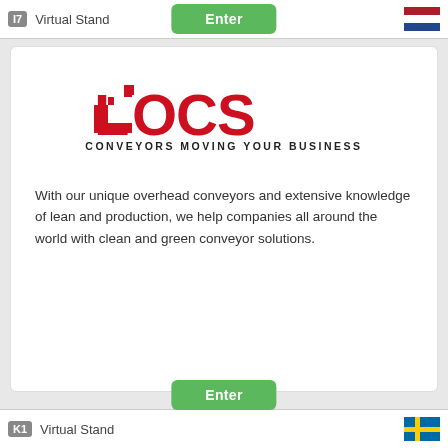I7   Virtual Stand
[Figure (logo): LOCS logo with tagline CONVEYORS MOVING YOUR BUSINESS]
With our unique overhead conveyors and extensive knowledge of lean and production, we help companies all around the world with clean and green conveyor solutions.
K1   Virtual Stand